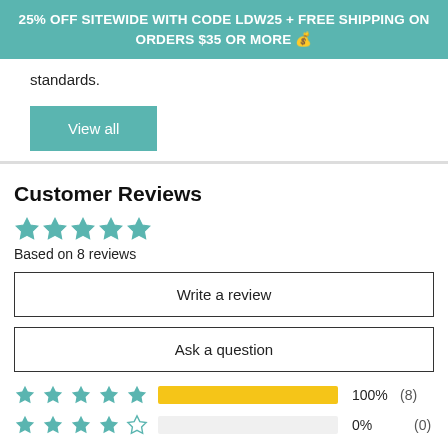25% OFF SITEWIDE WITH CODE LDW25 + FREE SHIPPING ON ORDERS $35 OR MORE 🏷
standards.
View all
Customer Reviews
Based on 8 reviews
Write a review
Ask a question
100%  (8)
0%    (0)